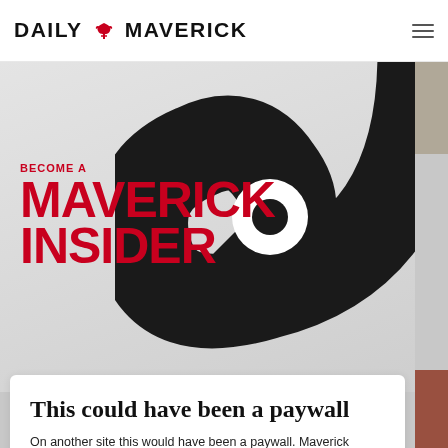DAILY MAVERICK
[Figure (illustration): Maverick Insider promotional banner with large red text 'BECOME A MAVERICK INSIDER' on grey gradient background with large black swirl graphic on the right side]
This could have been a paywall
On another site this would have been a paywall. Maverick Insider keeps our content free for all.
Become an Insider